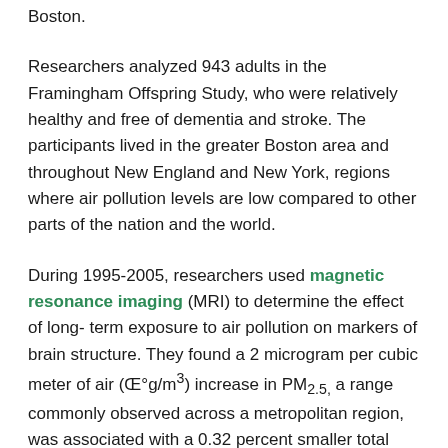and the Harvard T.H. Chan School of Public Health in Boston.
Researchers analyzed 943 adults in the Framingham Offspring Study, who were relatively healthy and free of dementia and stroke. The participants lived in the greater Boston area and throughout New England and New York, regions where air pollution levels are low compared to other parts of the nation and the world.
During 1995-2005, researchers used magnetic resonance imaging (MRI) to determine the effect of long-term exposure to air pollution on markers of brain structure. They found a 2 microgram per cubic meter of air (Œ°g/m³) increase in PM2.5, a range commonly observed across a metropolitan region, was associated with a 0.32 percent smaller total cerebral brain volume and a 46 percent higher risk of covert brain infarcts, a type of silent